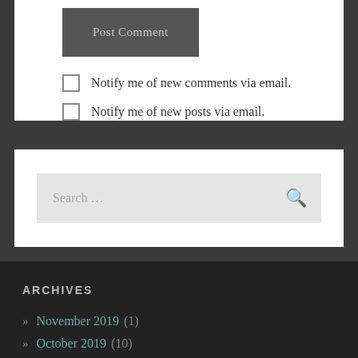Post Comment
Notify me of new comments via email.
Notify me of new posts via email.
Search ...
ARCHIVES
» November 2019 (1)
» October 2019 (10)